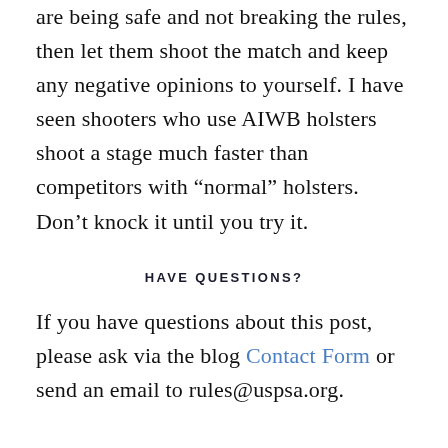are being safe and not breaking the rules, then let them shoot the match and keep any negative opinions to yourself. I have seen shooters who use AIWB holsters shoot a stage much faster than competitors with “normal” holsters. Don’t knock it until you try it.
HAVE QUESTIONS?
If you have questions about this post, please ask via the blog Contact Form or send an email to rules@uspsa.org.